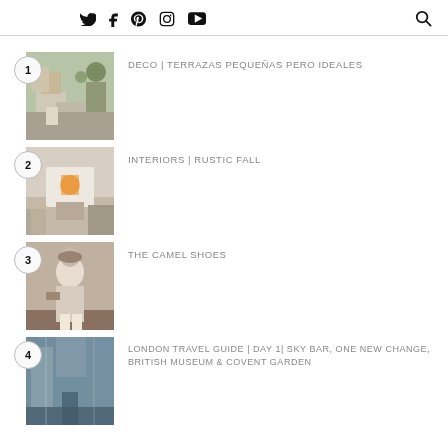Twitter Facebook Pinterest Instagram YouTube [search]
1 DECO | TERRAZAS PEQUEÑAS PERO IDEALES
2 INTERIORS | RUSTIC FALL
3 THE CAMEL SHOES
4 LONDON TRAVEL GUIDE | DAY 1| SKY BAR, ONE NEW CHANGE, BRITISH MUSEUM & COVENT GARDEN